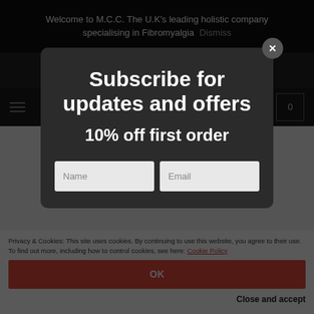Welcome to M.C.C. The U.K's leading holistic company specialising in Fibromyalgia Dismiss
Trusted since 2017. Over 15,000 orders shipped.
Subscribe for updates and offers
10% off first order
UNCATEGORIZED
A recipe for feeling happy and how to jar it!
Name
Email
Privacy & Cookies: This site uses cookies. By continuing to use this website, you agree to their use. To find out more, including how to control cookies, see here: Cookie Policy
OK
Close and accept